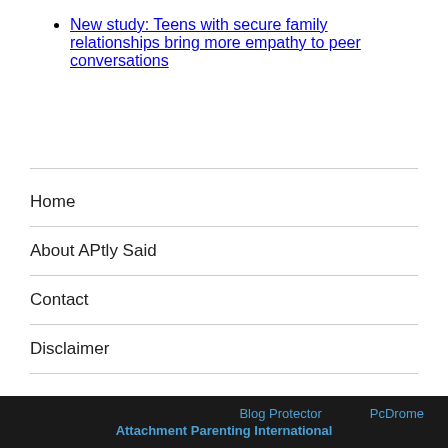New study: Teens with secure family relationships bring more empathy to peer conversations
Home
About APtly Said
Contact
Disclaimer
APtly Said / Proudly powered by WordPress
Blog Protector   PcDrome   Attachment Parenting International